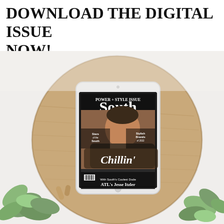DOWNLOAD THE DIGITAL ISSUE NOW!
[Figure (photo): A tablet displaying the cover of South magazine (Power + Style Issue) featuring Jesse Itzler with headline 'Chillin' ATL's Jesse Itzler', resting on a round wooden tray with green plants and small wooden objects in the foreground, on a white background.]